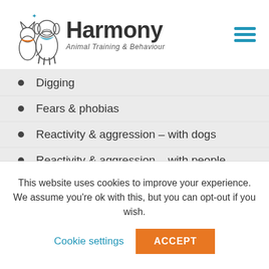[Figure (logo): Harmony Animal Training & Behaviour logo with illustrated dog and cat, text 'Harmony Animal Training & Behaviour']
Digging
Fears & phobias
Reactivity & aggression – with dogs
Reactivity & aggression – with people
Remedial socialization for adult dogs
Resource guarding – with dogs
This website uses cookies to improve your experience. We assume you're ok with this, but you can opt-out if you wish.
Cookie settings   ACCEPT